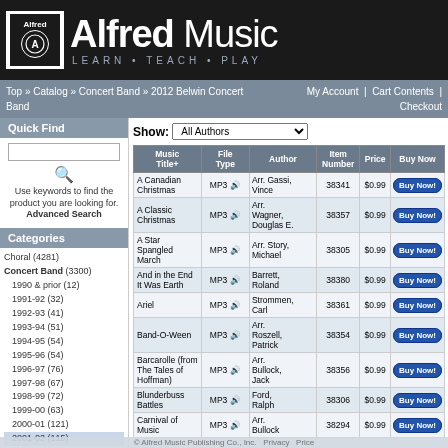[Figure (logo): Alfred Music logo with Learn Teach Play tagline on dark background]
Top » Catalog » Concert Band » 2012 Belwin Concert Band | My Account | Cart Contents | Checkout
Quick Find
Use keywords to find the product you are looking for. Advanced Search
Categories
Choral (4281)
Concert Band (3300)
1990 & prior (12)
1991-92 (32)
1992-93 (41)
1993-94 (51)
1994-95 (54)
1995-96 (54)
1996-97 (76)
1997-98 (67)
1998-99 (72)
1999-00 (63)
2000-01 (121)
2001-02 (115)
2002-03 (113)
2003-04 (113)
2004-05 (122)
2005-06 (154)
Show: All Authors
| Music Title+ | File Type | Author | Item Number | Price | Buy Now |
| --- | --- | --- | --- | --- | --- |
| A Canadian Christmas | MP3 | Arr. Gassi, Vince | 38341 | $0.99 | Buy Now! |
| A Classic Christmas | MP3 | Arr. Wagner, Douglas E. | 38357 | $0.99 | Buy Now! |
| A Star Spangled March | MP3 | Arr. Story, Michael | 38305 | $0.99 | Buy Now! |
| And in the End It Was Earth | MP3 | Barrett, Roland | 38380 | $0.99 | Buy Now! |
| Ariel | MP3 | Strommen, Carl | 38361 | $0.99 | Buy Now! |
| Band-O-Ween | MP3 | Arr. Roszell, Patrick | 38354 | $0.99 | Buy Now! |
| Barcarolle (from The Tales of Hoffman) | MP3 | Arr. Bullock, Jack | 38356 | $0.99 | Buy Now! |
| Blunderbuss Battles | MP3 | Ford, Ralph | 38306 | $0.99 | Buy Now! |
| Carnival of Music | MP3 | Arr. Bullock | 38294 | $0.99 | Buy Now! |